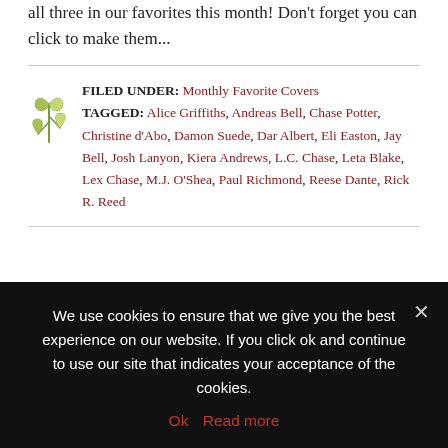all three in our favorites this month! Don't forget you can click to make them...
FILED UNDER: Monthly Favorite Covers
TAGGED: Alice Griffiths, Andreas Bell, Chase Potter, Christine d'Abo, Damon Suede, Dar Albert, Eli Easton, Jay Bell, Josh Lanyon, Kiera Andrews, L.C. Chase, Leta Blake, Lex Chase, M.J. O'Shea, Paul Richmond, Reese Dante, Rick R. Reed
We use cookies to ensure that we give you the best experience on our website. If you click ok and continue to use our site that indicates your acceptance of the cookies.
Ok  Read more